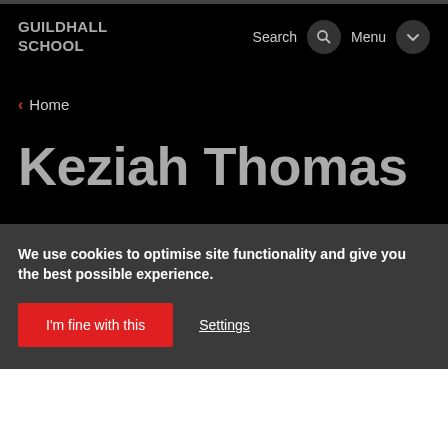GUILDHALL SCHOOL
< Home
Keziah Thomas
We use cookies to optimise site functionality and give you the best possible experience.
I'm fine with this
Settings